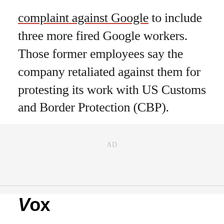complaint against Google to include three more fired Google workers. Those former employees say the company retaliated against them for protesting its work with US Customs and Border Protection (CBP).
AD
Vox